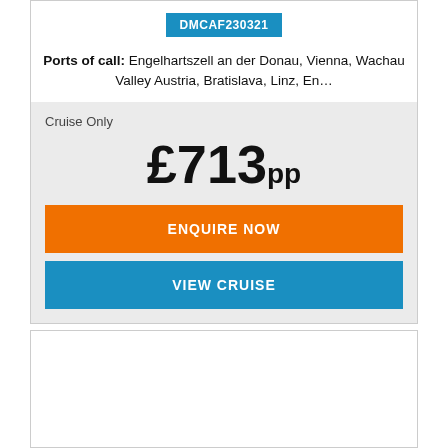DMCAF230321
Ports of call: Engelhartszell an der Donau, Vienna, Wachau Valley Austria, Bratislava, Linz, En...
Cruise Only
£713pp
ENQUIRE NOW
VIEW CRUISE